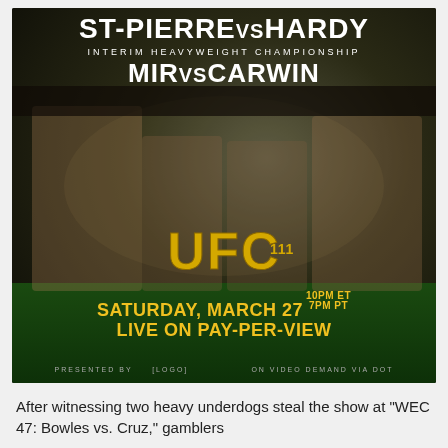[Figure (photo): UFC 111 promotional poster: ST-PIERRE VS HARDY / INTERIM HEAVYWEIGHT CHAMPIONSHIP / MIR VS CARWIN. Four fighters posed against dark background with UFC 111 logo. Saturday, March 27, 10PM ET / 7PM PT, Live on Pay-Per-View. Presented by [logo].]
After witnessing two heavy underdogs steal the show at "WEC 47: Bowles vs. Cruz," gamblers